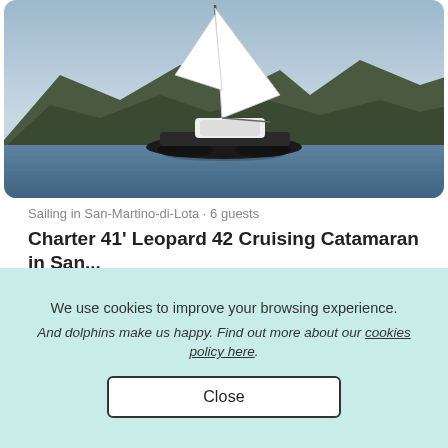[Figure (photo): Sailing catamaran on calm water with mountains in background, rounded rectangular crop]
Sailing in San-Martino-di-Lota · 6 guests
Charter 41' Leopard 42 Cruising Catamaran in San...
★ New
$4,168 week
We use cookies to improve your browsing experience.
And dolphins make us happy. Find out more about our cookies policy here.